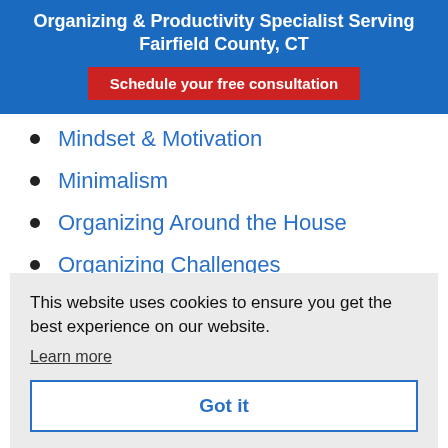Organizing & Productivity Specialist Serving Fairfield County, CT
Schedule your free consultation
Mindset & Motivation
Minimalism
Organizing Around the House
Organizing Challenges
Preparedness
This website uses cookies to ensure you get the best experience on our website.
Learn more
Got it